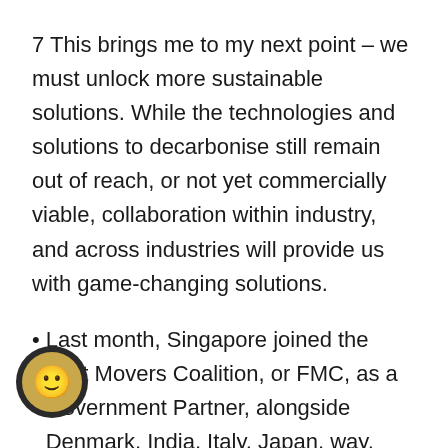7 This brings me to my next point – we must unlock more sustainable solutions. While the technologies and solutions to decarbonise still remain out of reach, or not yet commercially viable, collaboration within industry, and across industries will provide us with game-changing solutions.
Last month, Singapore joined the First Movers Coalition, or FMC, as a Government Partner, alongside Denmark, India, Italy, Japan, [Nor]way, Sweden, the United Kingdom and the